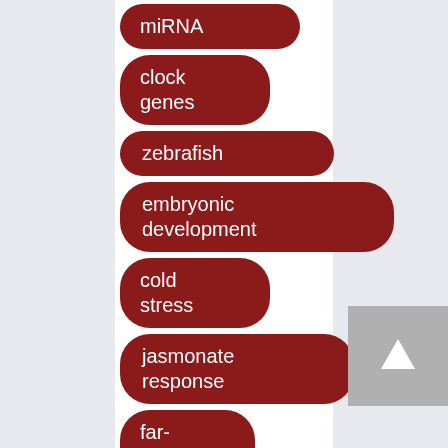[Figure (infographic): A vertical list of biology/research keyword tags rendered as dark red rounded pill/oval buttons on a white background with grey side borders. Tags from top to bottom: miRNA, clock genes, zebrafish, embryonic development, cold stress, jasmonate response, far-red light, signaling (partially visible at bottom). A grey scroll-to-top button with an upward arrow is visible in the bottom right.]